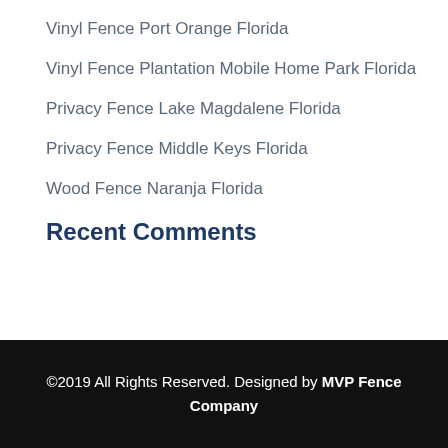Vinyl Fence Port Orange Florida
Vinyl Fence Plantation Mobile Home Park Florida
Privacy Fence Lake Magdalene Florida
Privacy Fence Middle Keys Florida
Wood Fence Naranja Florida
Recent Comments
©2019 All Rights Reserved. Designed by MVP Fence Company